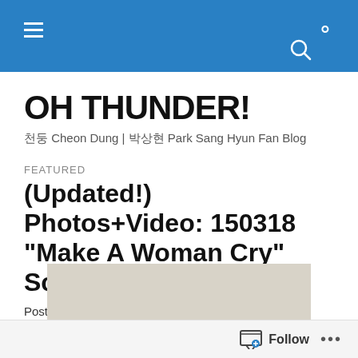OH THUNDER! navigation bar
OH THUNDER!
천둥 Cheon Dung | 박상현 Park Sang Hyun Fan Blog
FEATURED
(Updated!) Photos+Video: 150318 “Make A Woman Cry” Script Reading
Posted by Oh Thunder!
[Figure (photo): Partial view of a document or script page with beige/tan background]
Follow ...